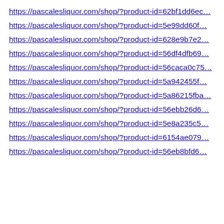https://pascalesliquor.com/shop/?product-id=62bf1dd6ec…
https://pascalesliquor.com/shop/?product-id=5e99dd60f…
https://pascalesliquor.com/shop/?product-id=628e9b7e2…
https://pascalesliquor.com/shop/?product-id=56df4dfb69…
https://pascalesliquor.com/shop/?product-id=56caca0c75…
https://pascalesliquor.com/shop/?product-id=5a942455f…
https://pascalesliquor.com/shop/?product-id=5a86215fba…
https://pascalesliquor.com/shop/?product-id=56ebb26d6…
https://pascalesliquor.com/shop/?product-id=5e8a235c5…
https://pascalesliquor.com/shop/?product-id=6154ae079…
https://pascalesliquor.com/shop/?product-id=56eb8bfd6…